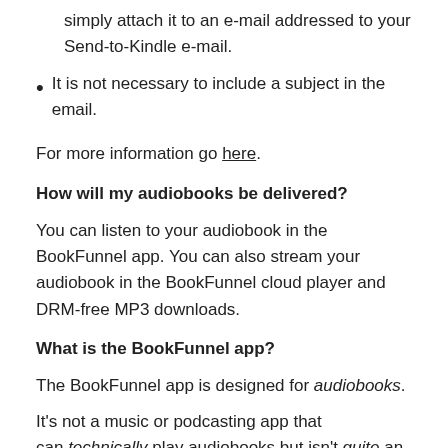simply attach it to an e-mail addressed to your Send-to-Kindle e-mail.
It is not necessary to include a subject in the email.
For more information go here.
How will my audiobooks be delivered?
You can listen to your audiobook in the BookFunnel app. You can also stream your audiobook in the BookFunnel cloud player and DRM-free MP3 downloads.
What is the BookFunnel app?
The BookFunnel app is designed for audiobooks.
It’s not a music or podcasting app that can technically play audiobooks but isn’t quite an